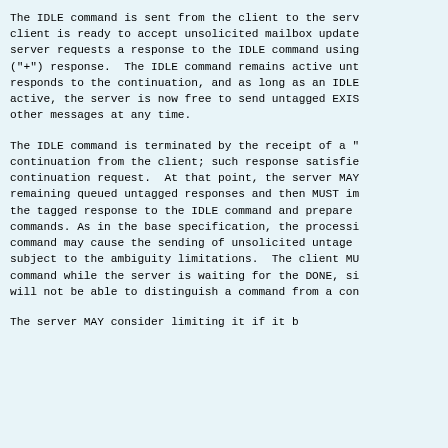The IDLE command is sent from the client to the serv client is ready to accept unsolicited mailbox update server requests a response to the IDLE command using ("+") response.  The IDLE command remains active unt responds to the continuation, and as long as an IDLE active, the server is now free to send untagged EXIS other messages at any time.
The IDLE command is terminated by the receipt of a " continuation from the client; such response satisfie continuation request.  At that point, the server MAY remaining queued untagged responses and then MUST im the tagged response to the IDLE command and prepare commands. As in the base specification, the processi command may cause the sending of unsolicited untage subject to the ambiguity limitations.  The client MU command while the server is waiting for the DONE, si will not be able to distinguish a command from a con
The server MAY consider limiting it if it b